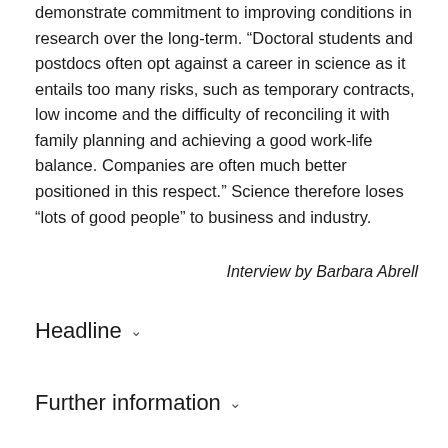demonstrate commitment to improving conditions in research over the long-term. “Doctoral students and postdocs often opt against a career in science as it entails too many risks, such as temporary contracts, low income and the difficulty of reconciling it with family planning and achieving a good work-life balance. Companies are often much better positioned in this respect.” Science therefore loses “lots of good people” to business and industry.
Interview by Barbara Abrell
Headline
Further information